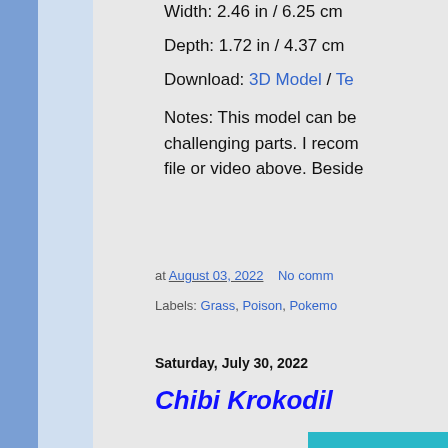Width: 2.46 in / 6.25 cm
Depth: 1.72 in / 4.37 cm
Download: 3D Model / Te...
Notes: This model can be challenging parts. I recom... file or video above. Beside...
at August 03, 2022   No comm...
Labels: Grass, Poison, Pokemo...
Saturday, July 30, 2022
Chibi Krokodil...
[Figure (screenshot): Teal/cyan colored image box at bottom right, partially visible]